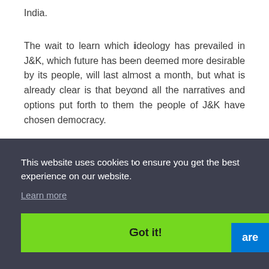India.
The wait to learn which ideology has prevailed in J&K, which future has been deemed more desirable by its people, will last almost a month, but what is already clear is that beyond all the narratives and options put forth to them the people of J&K have chosen democracy.
This website uses cookies to ensure you get the best experience on our website.
Learn more
Got it!
are